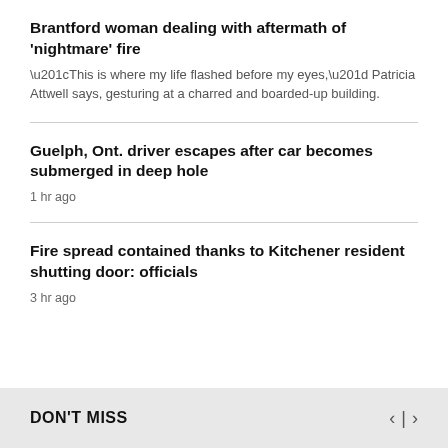Brantford woman dealing with aftermath of 'nightmare' fire
“This is where my life flashed before my eyes,” Patricia Attwell says, gesturing at a charred and boarded-up building.
Guelph, Ont. driver escapes after car becomes submerged in deep hole
1 hr ago
Fire spread contained thanks to Kitchener resident shutting door: officials
3 hr ago
DON'T MISS